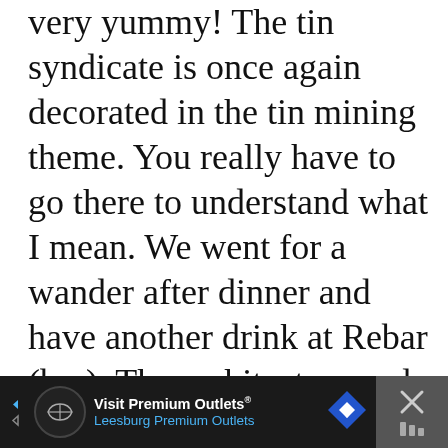very yummy! The tin syndicate is once again decorated in the tin mining theme. You really have to go there to understand what I mean. We went for a wander after dinner and have another drink at Rebar (bar). The architecture and décor of this hotel is amazing!
[Figure (other): Scroll-to-top button: circle with upward chevron arrow]
[Figure (other): Advertisement banner: dark background with 'Visit Premium Outlets® Leesburg Premium Outlets' text, navigation arrow icon, and close button]